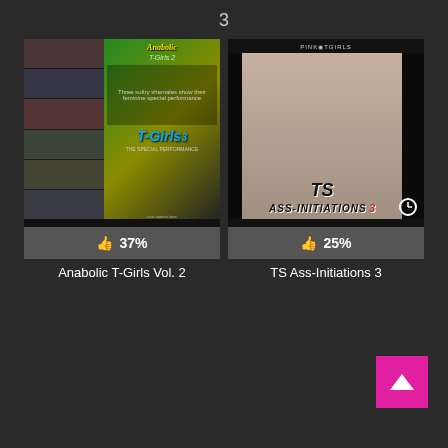3
[Figure (photo): Movie cover thumbnail for Anabolic T-Girls Vol. 2 with 37% rating]
37%
Anabolic T-Girls Vol. 2
[Figure (photo): Movie cover thumbnail for TS Ass-Initiations 3 with 25% rating]
25%
TS Ass-Initiations 3